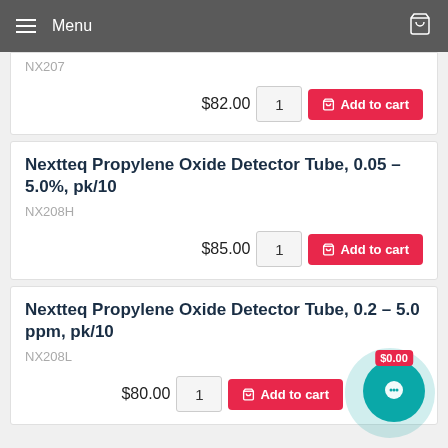Menu
NX207
$82.00  1  Add to cart
Nextteq Propylene Oxide Detector Tube, 0.05 – 5.0%, pk/10
NX208H
$85.00  1  Add to cart
Nextteq Propylene Oxide Detector Tube, 0.2 – 5.0 ppm, pk/10
NX208L
$80.00  1  Add to cart